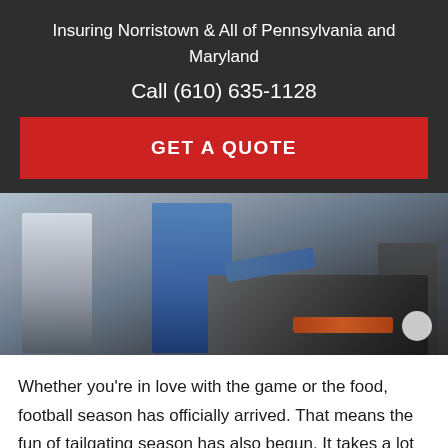Insuring Norristown & All of Pennsylvania and Maryland
Call (610) 635-1128
GET A QUOTE
[Figure (photo): People at a tailgate cookout, person in blue reaching toward a grill with food, crowd around a barbecue grill with skewered food]
Whether you’re in love with the game or the food, football season has officially arrived. That means the fun of tailgating season has also begun. It takes a lot of effort to host a successful tailgate, but it’s important